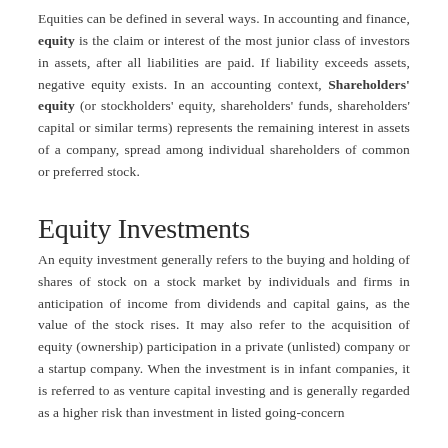Equities can be defined in several ways. In accounting and finance, equity is the claim or interest of the most junior class of investors in assets, after all liabilities are paid. If liability exceeds assets, negative equity exists. In an accounting context, Shareholders' equity (or stockholders' equity, shareholders' funds, shareholders' capital or similar terms) represents the remaining interest in assets of a company, spread among individual shareholders of common or preferred stock.
Equity Investments
An equity investment generally refers to the buying and holding of shares of stock on a stock market by individuals and firms in anticipation of income from dividends and capital gains, as the value of the stock rises. It may also refer to the acquisition of equity (ownership) participation in a private (unlisted) company or a startup company. When the investment is in infant companies, it is referred to as venture capital investing and is generally regarded as a higher risk than investment in listed going-concern